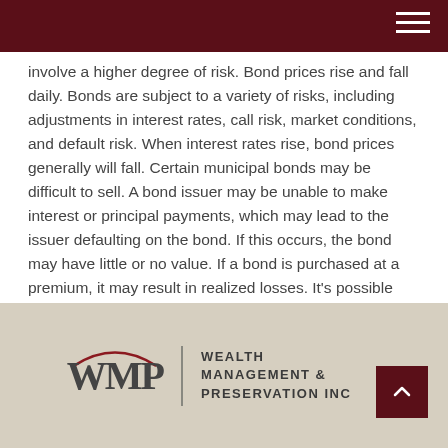[Dark red navigation header bar with hamburger menu icon]
involve a higher degree of risk. Bond prices rise and fall daily. Bonds are subject to a variety of risks, including adjustments in interest rates, call risk, market conditions, and default risk. When interest rates rise, bond prices generally will fall. Certain municipal bonds may be difficult to sell. A bond issuer may be unable to make interest or principal payments, which may lead to the issuer defaulting on the bond. If this occurs, the bond may have little or no value. If a bond is purchased at a premium, it may result in realized losses. It's possible that the interest on a municipal bond may be determined to be taxable after purchase.
Wealth Management & Preservation INC